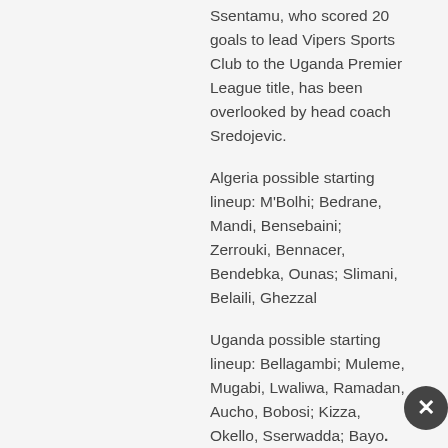Ssentamu, who scored 20 goals to lead Vipers Sports Club to the Uganda Premier League title, has been overlooked by head coach Sredojevic.
Algeria possible starting lineup: M'Bolhi; Bedrane, Mandi, Bensebaini; Zerrouki, Bennacer, Bendebka, Ounas; Slimani, Belaili, Ghezzal
Uganda possible starting lineup: Bellagambi; Muleme, Mugabi, Lwaliwa, Ramadan, Aucho, Bobosi; Kizza, Okello, Sserwadda; Bayo.
SHARING IS CARING
[Figure (other): Social sharing icons: WhatsApp, Facebook, Twitter, Pinterest, and one more social network]